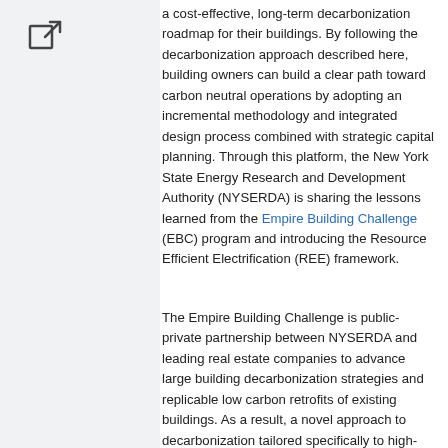[Figure (other): External link icon (square with arrow) in the left sidebar]
a cost-effective, long-term decarbonization roadmap for their buildings. By following the decarbonization approach described here, building owners can build a clear path toward carbon neutral operations by adopting an incremental methodology and integrated design process combined with strategic capital planning. Through this platform, the New York State Energy Research and Development Authority (NYSERDA) is sharing the lessons learned from the Empire Building Challenge (EBC) program and introducing the Resource Efficient Electrification (REE) framework.
The Empire Building Challenge is public-private partnership between NYSERDA and leading real estate companies to advance large building decarbonization strategies and replicable low carbon retrofits of existing buildings. As a result, a novel approach to decarbonization tailored specifically to high-rise buildings in cold climates emerged after over a year of collaboration between EBC real estate partners, their industry-leading consultants, and the